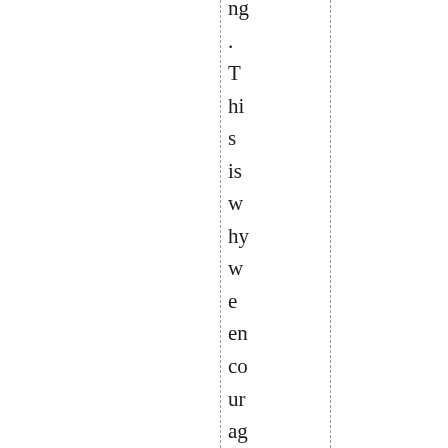ng. This is why we encourage you to ask at least as t